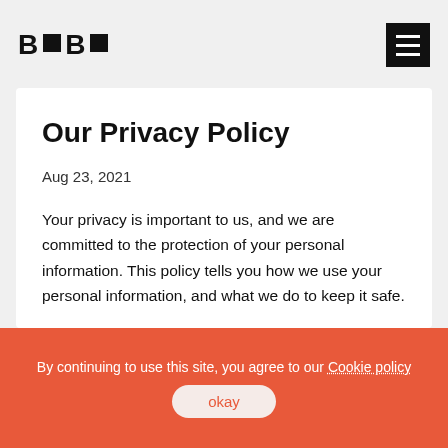B B logo and hamburger menu
Our Privacy Policy
Aug 23, 2021
Your privacy is important to us, and we are committed to the protection of your personal information. This policy tells you how we use your personal information, and what we do to keep it safe.
By continuing to use this site, you agree to our Cookie policy